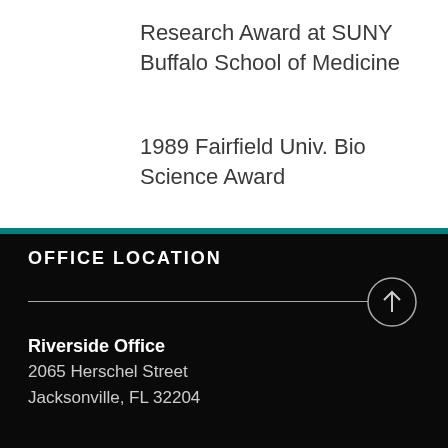Research Award at SUNY Buffalo School of Medicine
1989 Fairfield Univ. Bio Science Award
OFFICE LOCATION
Riverside Office
2065 Herschel Street
Jacksonville, FL 32204